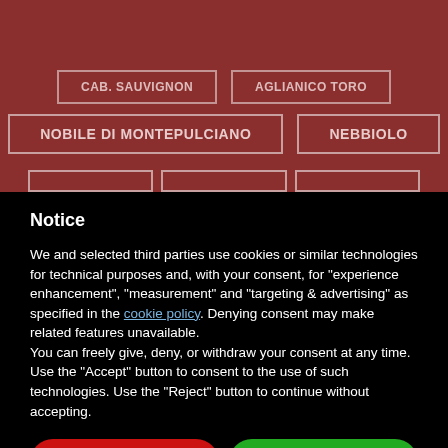[Figure (other): Partial wine variety organizational chart on dark red background showing boxes: NOBILE DI MONTEPULCIANO, NEBBIOLO, and partial boxes at top and bottom]
Notice
We and selected third parties use cookies or similar technologies for technical purposes and, with your consent, for “experience enhancement”, “measurement” and “targeting & advertising” as specified in the cookie policy. Denying consent may make related features unavailable.
You can freely give, deny, or withdraw your consent at any time.
Use the “Accept” button to consent to the use of such technologies. Use the “Reject” button to continue without accepting.
Reject
Accept
Learn more and customize